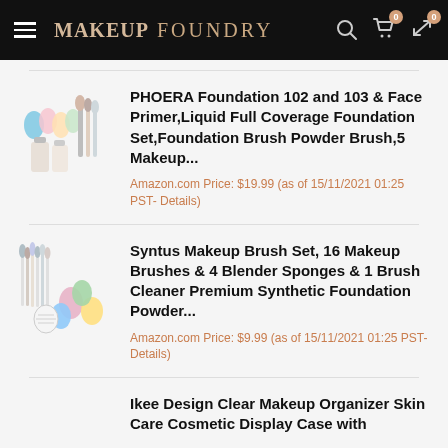MAKEUP FOUNDRY
[Figure (photo): Product image of makeup sponges and foundation brushes with bottles]
PHOERA Foundation 102 and 103 & Face Primer,Liquid Full Coverage Foundation Set,Foundation Brush Powder Brush,5 Makeup...
Amazon.com Price: $19.99 (as of 15/11/2021 01:25 PST- Details)
[Figure (photo): Product image of makeup brushes set with blender sponges in various colors]
Syntus Makeup Brush Set, 16 Makeup Brushes & 4 Blender Sponges & 1 Brush Cleaner Premium Synthetic Foundation Powder...
Amazon.com Price: $9.99 (as of 15/11/2021 01:25 PST- Details)
Ikee Design Clear Makeup Organizer Skin Care Cosmetic Display Case with